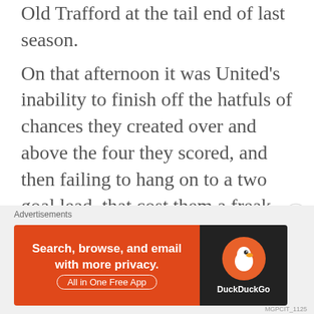Ferdinand and Jonny Evans in the 4-4-4- Old Trafford at the tail end of last season.
On that afternoon it was United's inability to finish off the hatfuls of chances they created over and above the four they scored, and then failing to hang on to a two goal lead, that cost them a freak match and ultimately the title. Their opening match of the 2012/13 season was a different proposition altogether though.
In the first half Everton fucking battered
[Figure (screenshot): DuckDuckGo advertisement banner: 'Search, browse, and email with more privacy. All in One Free App' on an orange background with DuckDuckGo logo on dark background. Labeled 'Advertisements'.]